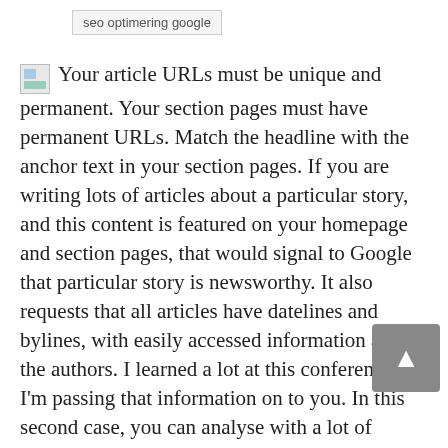seo optimering google
Your article URLs must be unique and permanent. Your section pages must have permanent URLs. Match the headline with the anchor text in your section pages. If you are writing lots of articles about a particular story, and this content is featured on your homepage and section pages, that would signal to Google that particular story is newsworthy. It also requests that all articles have datelines and bylines, with easily accessed information about the authors. I learned a lot at this conference and I'm passing that information on to you. In this second case, you can analyse with a lot of granularity the behaviour of your users and how they consume your content and navigate your edition. If you update an article extensively or add significant information, you can give